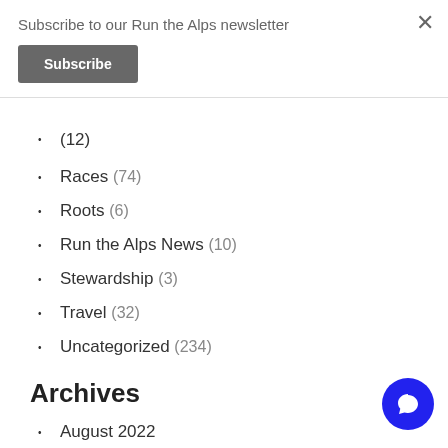Subscribe to our Run the Alps newsletter
Subscribe
×
(12)
Races (74)
Roots (6)
Run the Alps News (10)
Stewardship (3)
Travel (32)
Uncategorized (234)
Archives
August 2022
July 2022
June 2022